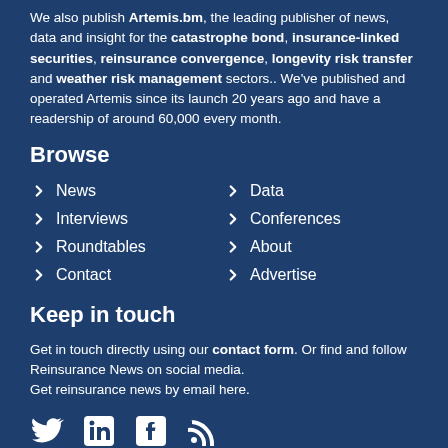We also publish Artemis.bm, the leading publisher of news, data and insight for the catastrophe bond, insurance-linked securities, reinsurance convergence, longevity risk transfer and weather risk management sectors.. We've published and operated Artemis since its launch 20 years ago and have a readership of around 60,000 every month.
Browse
News
Data
Interviews
Conferences
Roundtables
About
Contact
Advertise
Keep in touch
Get in touch directly using our contact form. Or find and follow Reinsurance News on social media.
Get reinsurance news by email here.
[Figure (illustration): Social media icons: Twitter bird, LinkedIn, Facebook, RSS feed]